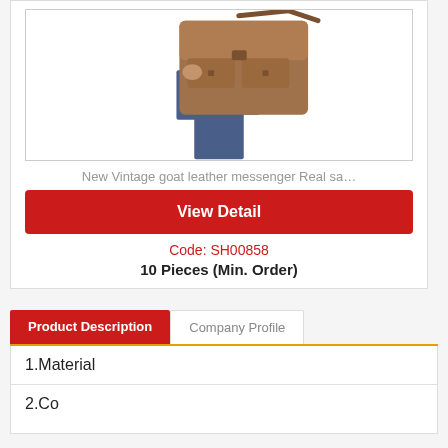[Figure (photo): Person carrying a brown vintage goat leather messenger bag over shoulder against white background]
New Vintage goat leather messenger Real sa…
View Detail
Code: SH00858
10 Pieces (Min. Order)
Product Description
Company Profile
1.Material